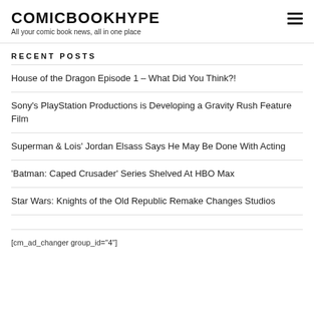COMICBOOKHYPE
All your comic book news, all in one place
RECENT POSTS
House of the Dragon Episode 1 – What Did You Think?!
Sony's PlayStation Productions is Developing a Gravity Rush Feature Film
Superman & Lois' Jordan Elsass Says He May Be Done With Acting
'Batman: Caped Crusader' Series Shelved At HBO Max
Star Wars: Knights of the Old Republic Remake Changes Studios
[cm_ad_changer group_id="4"]